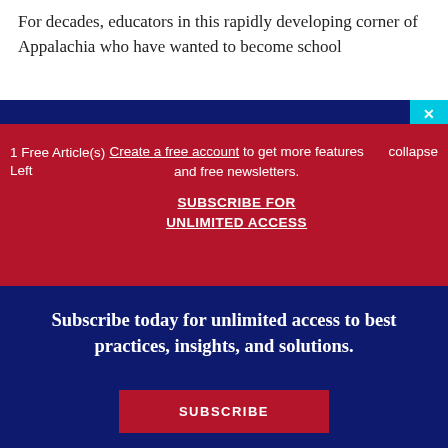For decades, educators in this rapidly developing corner of Appalachia who have wanted to become school
1 Free Article(s) Left
Create a free account to get more features and free newsletters.
SUBSCRIBE FOR UNLIMITED ACCESS
collapse
Subscribe today for unlimited access to best practices, insights, and solutions.
SUBSCRIBE